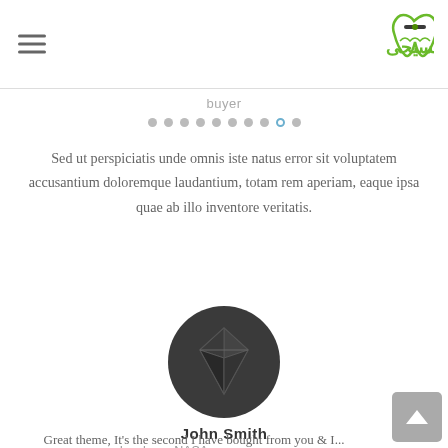[Figure (screenshot): Mobile website header with hamburger menu icon on left and green dental clinic logo (دکتر ناصر مسیحی) on right]
buyer
[Figure (infographic): Pagination dots row: nine filled gray dots and one outlined blue circle dot indicating current slide]
Sed ut perspiciatis unde omnis iste natus error sit voluptatem accusantium doloremque laudantium, totam rem aperiam, eaque ipsa quae ab illo inventore veritatis.
[Figure (illustration): Dark circular avatar with a diamond/gem icon in dark gray tones]
John Smith
developer NASA
Great theme, It's the second I have bought from you & I...